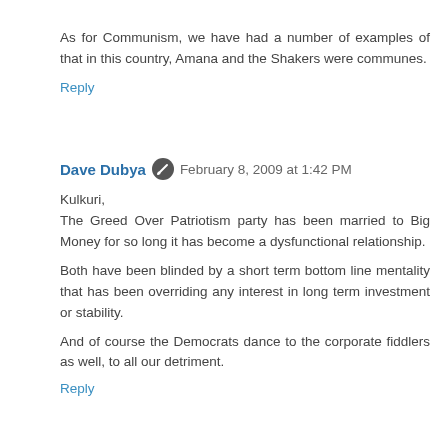As for Communism, we have had a number of examples of that in this country, Amana and the Shakers were communes.
Reply
Dave Dubya  February 8, 2009 at 1:42 PM
Kulkuri,
The Greed Over Patriotism party has been married to Big Money for so long it has become a dysfunctional relationship.

Both have been blinded by a short term bottom line mentality that has been overriding any interest in long term investment or stability.

And of course the Democrats dance to the corporate fiddlers as well, to all our detriment.
Reply